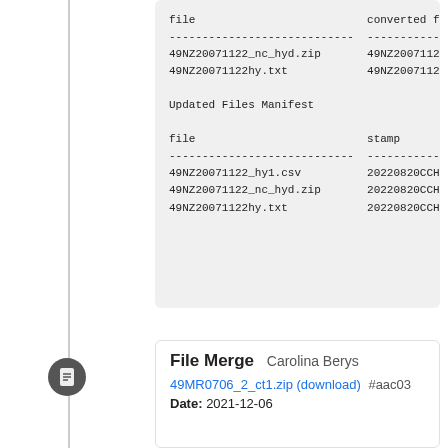file                          converted from
----------------------------  --------------------
49NZ20071122_nc_hyd.zip       49NZ20071122_hy1.c
49NZ20071122hy.txt            49NZ20071122_hy1.c

Updated Files Manifest

file                          stamp
----------------------------  --------------------
49NZ20071122_hy1.csv          20220820CCHSIOAMB
49NZ20071122_nc_hyd.zip       20220820CCHSIOAMB
49NZ20071122hy.txt            20220820CCHSIOAMB
File Merge  Carolina Berys
49MR0706_2_ct1.zip (download) #aac03
Date: 2021-12-06